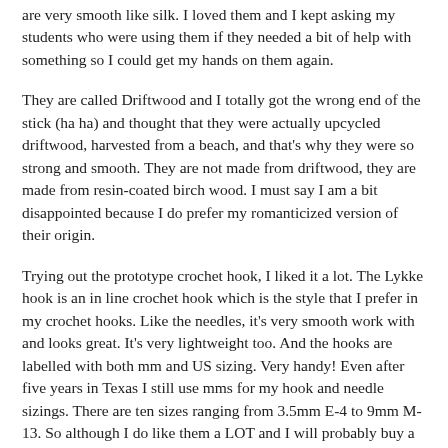are very smooth like silk. I loved them and I kept asking my students who were using them if they needed a bit of help with something so I could get my hands on them again.
They are called Driftwood and I totally got the wrong end of the stick (ha ha) and thought that they were actually upcycled driftwood, harvested from a beach, and that's why they were so strong and smooth. They are not made from driftwood, they are made from resin-coated birch wood. I must say I am a bit disappointed because I do prefer my romanticized version of their origin.
Trying out the prototype crochet hook, I liked it a lot. The Lykke hook is an in line crochet hook which is the style that I prefer in my crochet hooks. Like the needles, it's very smooth work with and looks great. It's very lightweight too. And the hooks are labelled with both mm and US sizing. Very handy! Even after five years in Texas I still use mms for my hook and needle sizings. There are ten sizes ranging from 3.5mm E-4 to 9mm M-13. So although I do like them a LOT and I will probably buy a few once they arrive, I will not be abandoning my Susan Bates Silvulame (anodized aluminum) because I tend to make projects which call for smaller hook sizes and Susan Bates start at 2 1/4 mm B-1